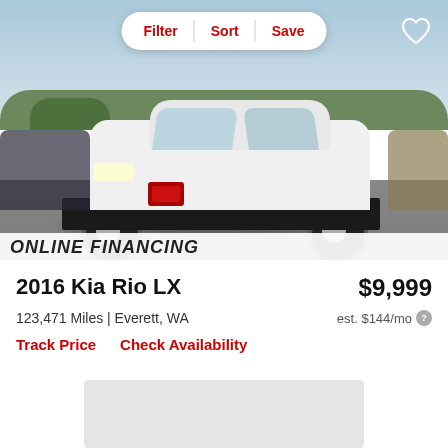[Figure (photo): White 2016 Kia Rio LX sedan parked in a dealership lot, front three-quarter view. A Filter/Sort/Save pill button and a heart icon overlay the top of the image. An 'ONLINE FINANCING' banner is at the bottom edge of the photo.]
2016 Kia Rio LX
$9,999
123,471 Miles | Everett, WA
est. $144/mo
Track Price    Check Availability